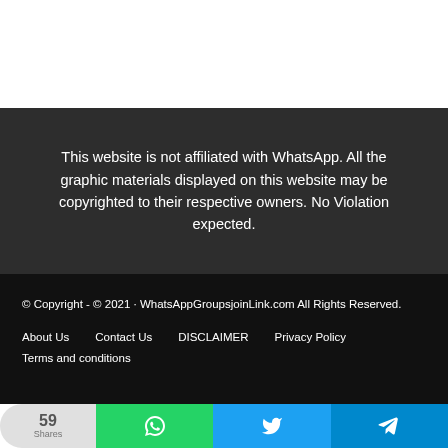This website is not affiliated with WhatsApp. All the graphic materials displayed on this website may be copyrighted to their respective owners. No Violation expected.
© Copyright - © 2021 · WhatsAppGroupsjoinLink.com All Rights Reserved.
About Us   Contact Us   DISCLAIMER   Privacy Policy   Terms and conditions
[Figure (infographic): Social share bar with count 59 Shares, WhatsApp icon (green), Twitter icon (blue), Telegram icon (teal)]